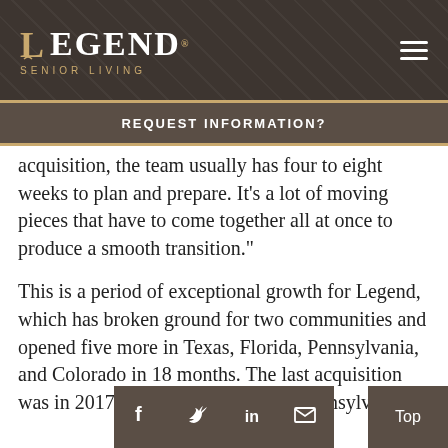[Figure (logo): Legend Senior Living logo on dark patterned background with hamburger menu icon]
REQUEST INFORMATION?
acquisition, the team usually has four to eight weeks to plan and prepare. It’s a lot of moving pieces that have to come together all at once to produce a smooth transition.”
This is a period of exceptional growth for Legend, which has broken ground for two communities and opened five more in Texas, Florida, Pennsylvania, and Colorado in 18 months. The last acquisition was in 2017, when it acquired two Pennsylvania
[Figure (infographic): Social share bar with Facebook, Twitter, LinkedIn, and Email icons, plus a Top button]